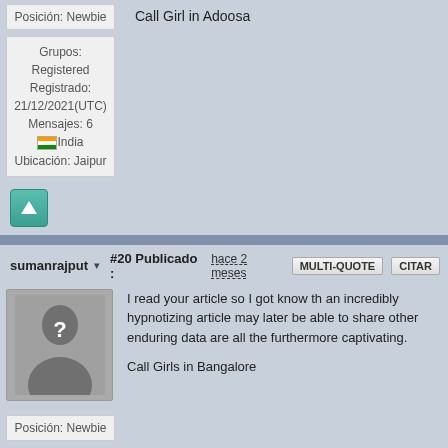Posición: Newbie
Grupos: Registered
Registrado: 21/12/2021(UTC)
Mensajes: 6
[India]
Ubicación: Jaipur
Call Girl in Adoosa
sumanrajput ▾
#20 Publicado : hace 2 meses
I read your article so I got know th an incredibly hypnotizing article may later be able to share other enduring data are all the furthermore captivating.

Call Girls in Bangalore
Posición: Newbie
Grupos: Registered
Registrado: